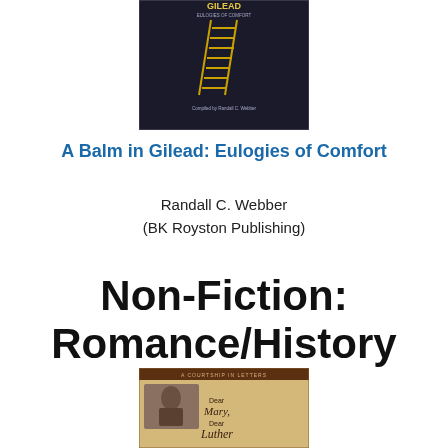[Figure (illustration): Book cover of 'A Balm in Gilead: Eulogies of Comfort' compiled by Randall C. Webber, showing a golden ladder against a dark background]
A Balm in Gilead: Eulogies of Comfort
Randall C. Webber
(BK Royston Publishing)
Non-Fiction:
Romance/History Focus
[Figure (illustration): Book cover of 'Dear Mary, Dear Luther: A Courtship in Letters' showing a vintage photograph of a woman and partial text]